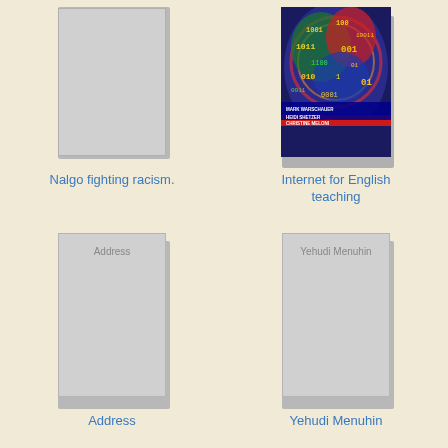[Figure (illustration): Book cover placeholder for 'Nalgo fighting racism' — gray rectangular book cover with shadow]
[Figure (photo): Book cover for 'Internet for English teaching' — colorful cover with binary numbers/code imagery, authors Mark Warschauer, Heidi Shetzer, Christine Meloni]
Nalgo fighting racism.
Internet for English teaching
[Figure (illustration): Book cover placeholder for 'Address' — gray rectangular book cover with shadow and label 'Address']
[Figure (illustration): Book cover placeholder for 'Yehudi Menuhin' — gray rectangular book cover with shadow and label 'Yehudi Menuhin']
Address
Yehudi Menuhin